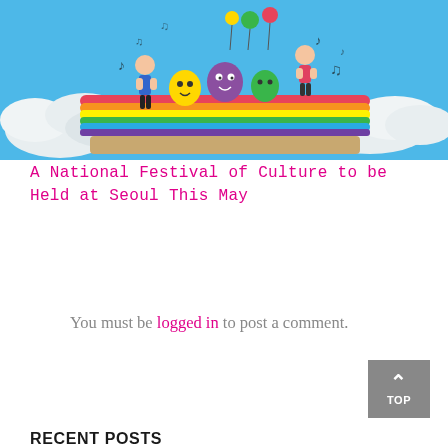[Figure (illustration): Colorful cartoon festival illustration showing animated musical characters and people on a rainbow-colored stage against a blue sky with white clouds. Musical notes float around the scene.]
A National Festival of Culture to be Held at Seoul This May
You must be logged in to post a comment.
RECENT POSTS